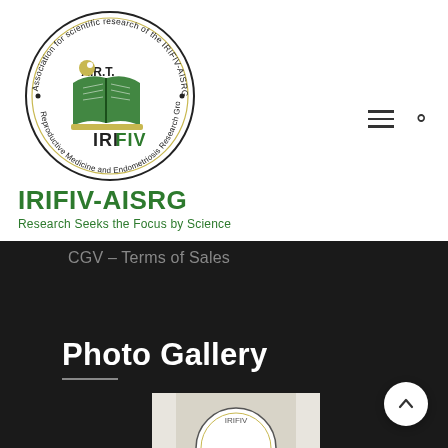[Figure (logo): IRIFIV-AISRG circular logo with open book, A.R.T. text, and surrounding text: Association for scientific research of the IRIFIV-AISRG, Reproductive Medicine and Endometriosis Research Group]
IRIFIV-AISRG
Research Seeks the Focus by Science
CGV – Terms of Sales
Photo Gallery
[Figure (photo): Partial photo of IRIFIV logo/seal at bottom of page]